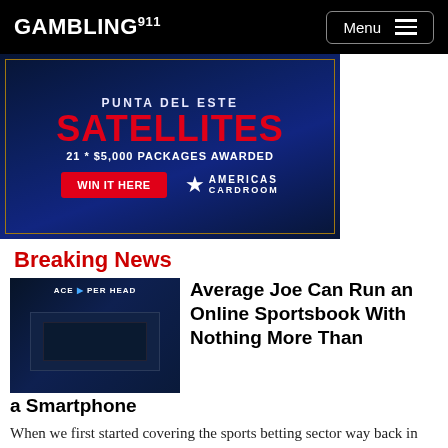GAMBLING911 | Menu
[Figure (photo): Advertisement banner for Americas Cardroom - Punta Del Este Satellites, 21 * $5,000 packages awarded, WIN IT HERE button]
Breaking News
[Figure (photo): Thumbnail image of man at computer screens with ACE PER HEAD logo overlay]
Average Joe Can Run an Online Sportsbook With Nothing More Than a Smartphone
When we first started covering the sports betting sector way back in 1999, bookies barely knew how to turn on a computer let alone offer bets on